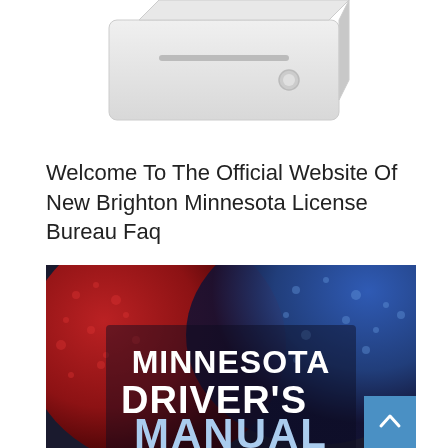[Figure (illustration): A white printer or electronic device partially visible at the top of the page, white background]
Welcome To The Official Website Of New Brighton Minnesota License Bureau Faq
[Figure (photo): Minnesota Driver's Manual book cover with red and blue halftone background showing traffic lights, white bold text reading MINNESOTA DRIVER'S MANUAL]